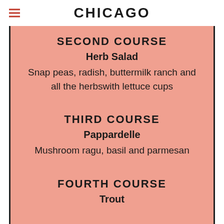CHICAGO
SECOND COURSE
Herb Salad
Snap peas, radish, buttermilk ranch and all the herbswith lettuce cups
THIRD COURSE
Pappardelle
Mushroom ragu, basil and parmesan
FOURTH COURSE
Trout